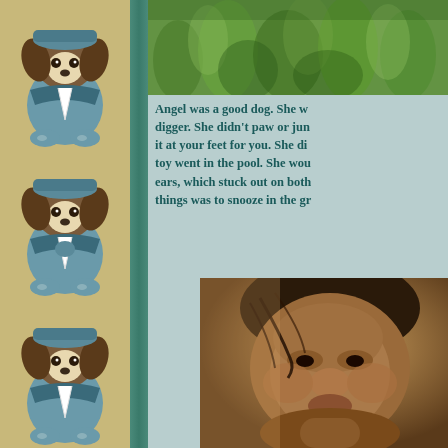[Figure (illustration): Decorative left strip with three repeating vintage illustrations of a puppy dog dressed in a sailor/blue outfit sitting on a beige background]
[Figure (photo): Top photograph showing green grass outdoors]
Angel was a good dog. She was not a digger. She didn't paw or jump—she'd lay it at your feet for you. She didn't bark if a toy went in the pool. She would shake her ears, which stuck out on both sides. One of things was to snooze in the gr...
[Figure (photo): Bottom photograph showing a close-up portrait of a woman's face with warm golden/amber lighting]